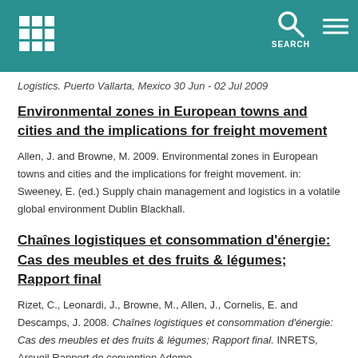SEARCH
Logistics. Puerto Vallarta, Mexico 30 Jun - 02 Jul 2009
Environmental zones in European towns and cities and the implications for freight movement
Allen, J. and Browne, M. 2009. Environmental zones in European towns and cities and the implications for freight movement. in: Sweeney, E. (ed.) Supply chain management and logistics in a volatile global environment Dublin Blackhall.
Chaînes logistiques et consommation d'énergie: Cas des meubles et des fruits & légumes; Rapport final
Rizet, C., Leonardi, J., Browne, M., Allen, J., Cornelis, E. and Descamps, J. 2008. Chaînes logistiques et consommation d'énergie: Cas des meubles et des fruits & légumes; Rapport final. INRETS, Arcueil Rapport de convention Ademe.
Internalising the external costs of light and